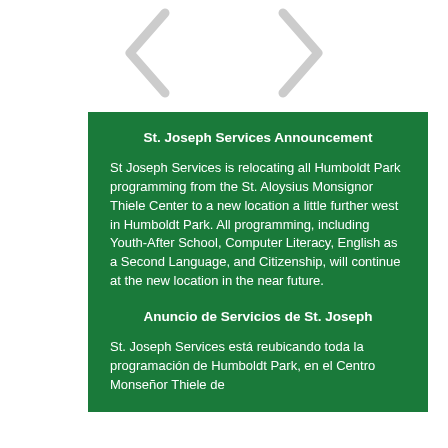[Figure (illustration): Two navigation arrow icons (left and right chevrons) at the top of the page on white background]
St. Joseph Services Announcement
St Joseph Services is relocating all Humboldt Park programming from the St. Aloysius Monsignor Thiele Center to a new location a little further west in Humboldt Park. All programming, including Youth-After School, Computer Literacy, English as a Second Language, and Citizenship, will continue at the new location in the near future.
Anuncio de Servicios de St. Joseph
St. Joseph Services está reubicando toda la programación de Humboldt Park, en el Centro Monseñor Thiele de